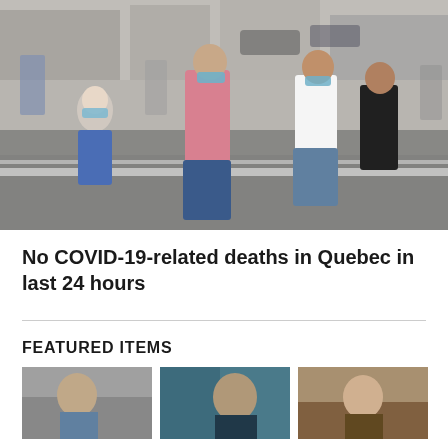[Figure (photo): People crossing a street wearing COVID-19 face masks in an urban setting, likely Montreal/Quebec. Several pedestrians visible including a woman in a pink shirt and blue jeans, another in white crop top and denim shorts, crossing at an intersection.]
No COVID-19-related deaths in Quebec in last 24 hours
FEATURED ITEMS
[Figure (photo): Thumbnail image - person outdoors (left)]
[Figure (photo): Thumbnail image - person with colorful background (center)]
[Figure (photo): Thumbnail image - person outdoors (right)]